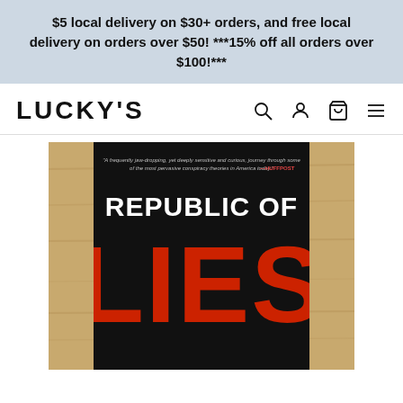$5 local delivery on $30+ orders, and free local delivery on orders over $50! ***15% off all orders over $100!***
LUCKY'S
[Figure (photo): Book cover of 'Republic of Lies' showing bold white text 'REPUBLIC OF' and large red text 'LIES' on a black background, with a small italic blurb at the top and the source '—HUFFPOST' in red. The book is photographed on a wooden surface.]